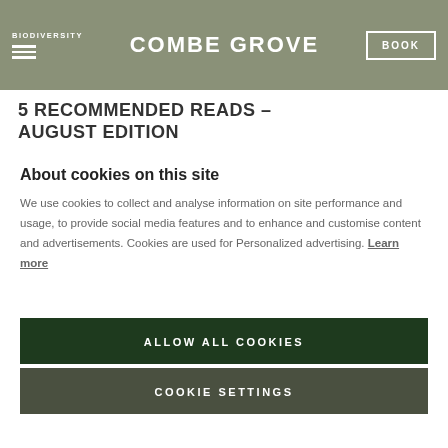BIODIVERSITY | COMBE GROVE | BOOK
5 RECOMMENDED READS – AUGUST EDITION
About cookies on this site
We use cookies to collect and analyse information on site performance and usage, to provide social media features and to enhance and customise content and advertisements. Cookies are used for Personalized advertising. Learn more
ALLOW ALL COOKIES
COOKIE SETTINGS